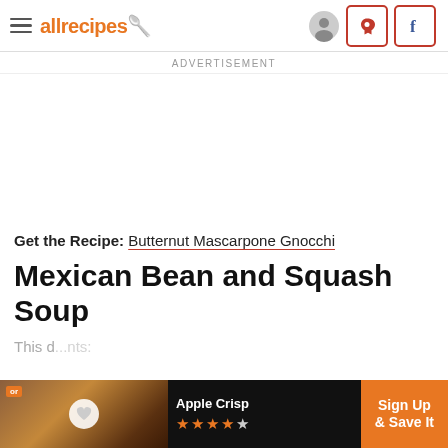allrecipes
ADVERTISEMENT
Get the Recipe: Butternut Mascarpone Gnocchi
Mexican Bean and Squash Soup
[Figure (screenshot): Bottom banner advertisement showing Apple Crisp with orange stars rating and Sign Up & Save It button]
This d...nts: